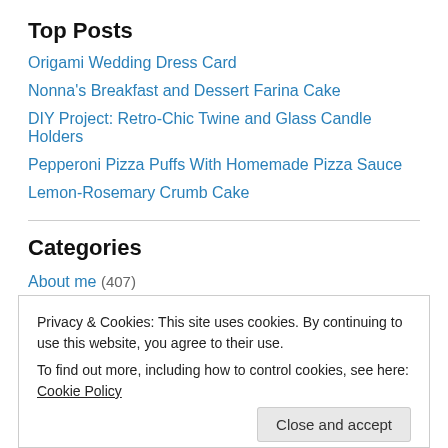Top Posts
Origami Wedding Dress Card
Nonna's Breakfast and Dessert Farina Cake
DIY Project: Retro-Chic Twine and Glass Candle Holders
Pepperoni Pizza Puffs With Homemade Pizza Sauce
Lemon-Rosemary Crumb Cake
Categories
About me (407)
Aging (50)
Privacy & Cookies: This site uses cookies. By continuing to use this website, you agree to their use. To find out more, including how to control cookies, see here: Cookie Policy
Gift Ideas (92)